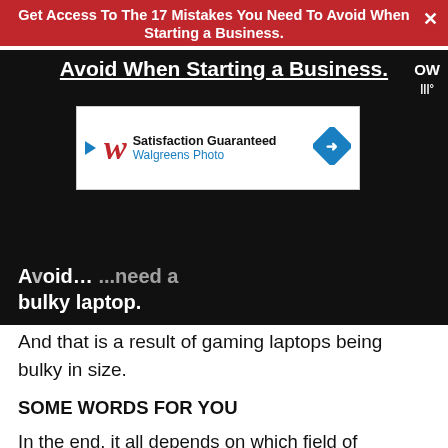Get Access To The 17 Mistakes You Need To Avoid When Starting a Business.
[Figure (screenshot): Walgreens Photo advertisement banner with logo and satisfaction guaranteed text]
...need a bulky laptop.
And that is a result of gaming laptops being bulky in size.
SOME WORDS FOR YOU
In the end, it all depends on which field of engineering you come from to determine a laptop that would perform well.
And under 1000, you can get worthy laptops